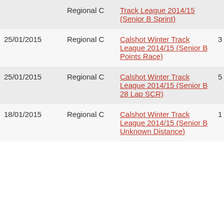| Date | Level | Event | Col1 | Col2 |
| --- | --- | --- | --- | --- |
|  | Regional C | Track League 2014/15 (Senior B Sprint) |  |  |
| 25/01/2015 | Regional C | Calshot Winter Track League 2014/15 (Senior B Points Race) | 3 | 0 |
| 25/01/2015 | Regional C | Calshot Winter Track League 2014/15 (Senior B 28 Lap SCR) | 5 | 0 |
| 18/01/2015 | Regional C | Calshot Winter Track League 2014/15 (Senior B Unknown Distance) | 1 | 0 |